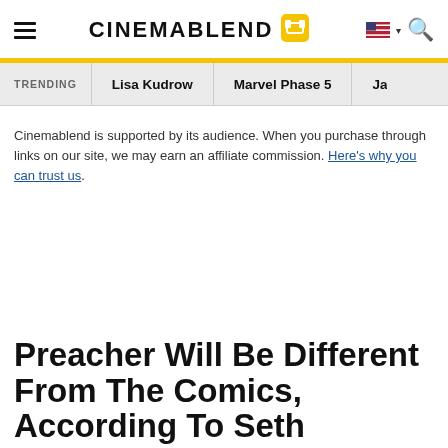CinemaBlend
TRENDING   Lisa Kudrow   Marvel Phase 5   Ja...
Cinemablend is supported by its audience. When you purchase through links on our site, we may earn an affiliate commission. Here's why you can trust us.
Preacher Will Be Different From The Comics, According To Seth